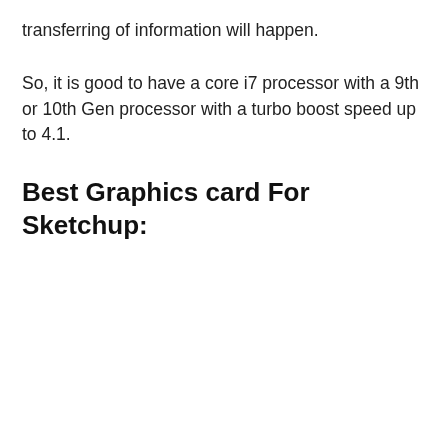transferring of information will happen.
So, it is good to have a core i7 processor with a 9th or 10th Gen processor with a turbo boost speed up to 4.1.
Best Graphics card For Sketchup: